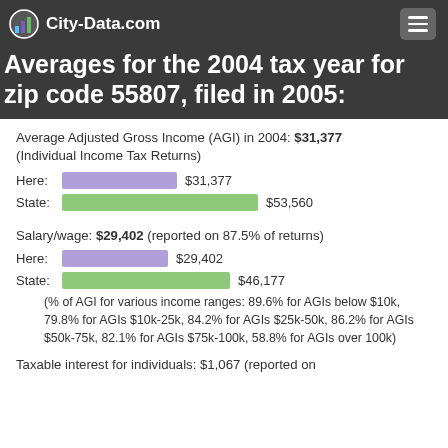City-Data.com
Averages for the 2004 tax year for zip code 55807, filed in 2005:
Average Adjusted Gross Income (AGI) in 2004: $31,377 (Individual Income Tax Returns)
[Figure (bar-chart): AGI Here vs State]
Salary/wage: $29,402 (reported on 87.5% of returns)
[Figure (bar-chart): Salary/wage Here vs State]
(% of AGI for various income ranges: 89.6% for AGIs below $10k, 79.8% for AGIs $10k-25k, 84.2% for AGIs $25k-50k, 86.2% for AGIs $50k-75k, 82.1% for AGIs $75k-100k, 58.8% for AGIs over 100k)
Taxable interest for individuals: $1,067 (reported on